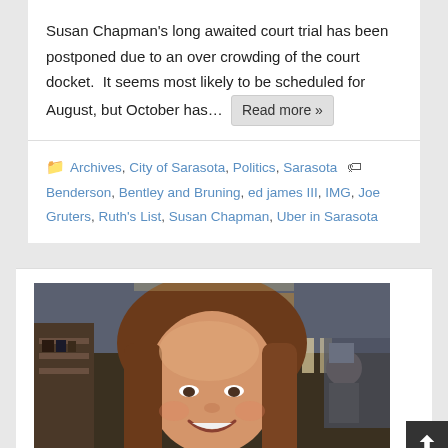Susan Chapman's long awaited court trial has been postponed due to an over crowding of the court docket.  It seems most likely to be scheduled for August, but October has…  Read more »
Archives, City of Sarasota, Politics, Sarasota  Benderson, Bentley and Bruning, ed james III, IMG, Joe Gruters, Ruth's List, Susan Chapman, Uber in Sarasota
[Figure (photo): Photo of a smiling woman with long brown hair in a restaurant or indoor setting with shelving and equipment visible in the background]